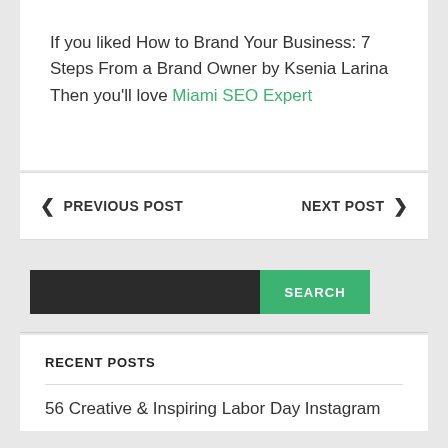If you liked How to Brand Your Business: 7 Steps From a Brand Owner by Ksenia Larina Then you'll love Miami SEO Expert
◄ PREVIOUS POST   NEXT POST ►
SEARCH
RECENT POSTS
56 Creative & Inspiring Labor Day Instagram